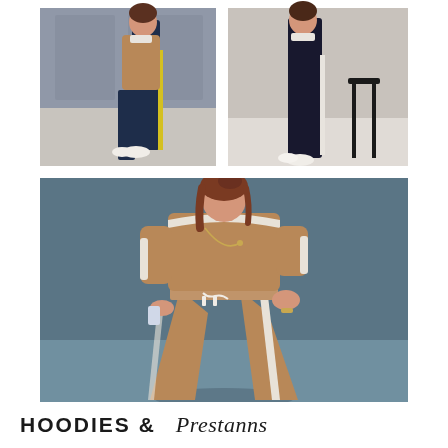[Figure (photo): Two smaller fashion photos at top: left shows a woman in navy blue tracksuit with yellow side stripe; right shows a woman in dark outfit seated near a black stool]
[Figure (photo): Large main photo of a woman wearing a caramel/tan wide-leg tracksuit set with white side stripes and drawstring waist, posed against a blue-grey background]
HOODIES & Prestanns